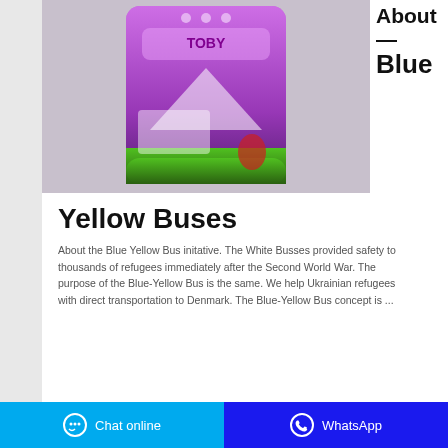About — Blue
[Figure (photo): Product photo of a purple/violet laundry detergent bag (TOBY brand) on a grey background, showing the back of the packaging with green base and promotional imagery]
Yellow Buses
About the Blue Yellow Bus initative. The White Busses provided safety to thousands of refugees immediately after the Second World War. The purpose of the Blue-Yellow Bus is the same. We help Ukrainian refugees with direct transportation to Denmark. The Blue-Yellow Bus concept is ...
Chat online   WhatsApp